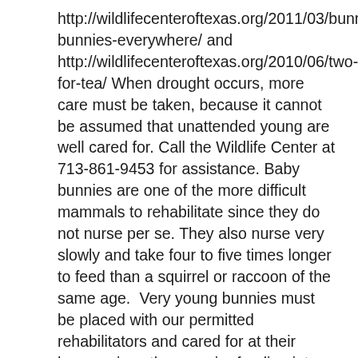http://wildlifecenteroftexas.org/2011/03/bunnies-bunnies-everywhere/ and http://wildlifecenteroftexas.org/2010/06/two-for-tea/ When drought occurs, more care must be taken, because it cannot be assumed that unattended young are well cared for. Call the Wildlife Center at 713-861-9453 for assistance. Baby bunnies are one of the more difficult mammals to rehabilitate since they do not nurse per se. They also nurse very slowly and take four to five times longer to feed than a squirrel or raccoon of the same age.  Very young bunnies must be placed with our permitted rehabilitators and cared for at their homes since they require feeding into the night. Once the bunny can go from six p.m. until seven a.m. without feeding, it can come back to the Wildlife Center for care.  Our off-site rehabilitators are our unsung heroes since they accept animals that are too sick, injured or young to thrive at the Wildlife Center.